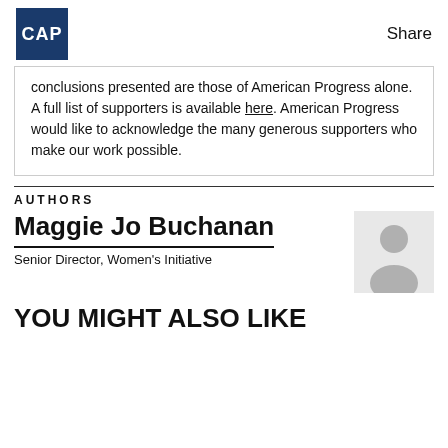CAP  Share
conclusions presented are those of American Progress alone. A full list of supporters is available here. American Progress would like to acknowledge the many generous supporters who make our work possible.
AUTHORS
Maggie Jo Buchanan
Senior Director, Women's Initiative
[Figure (illustration): Placeholder silhouette icon of a person on light grey background]
YOU MIGHT ALSO LIKE